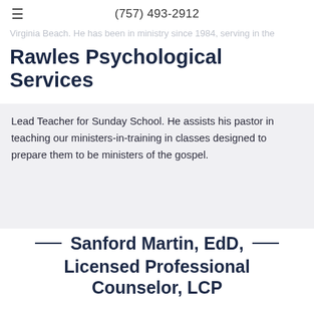(757) 493-2912
Rawles Psychological Services
Lead Teacher for Sunday School. He assists his pastor in teaching our ministers-in-training in classes designed to prepare them to be ministers of the gospel.
Sanford Martin, EdD, Licensed Professional Counselor, LCP